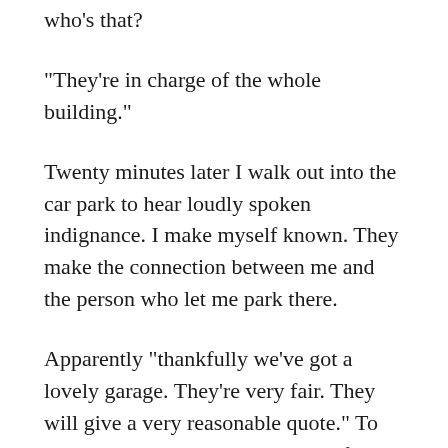who's that?
“They’re in charge of the whole building.”
Twenty minutes later I walk out into the car park to hear loudly spoken indignance. I make myself known. They make the connection between me and the person who let me park there.
Apparently “thankfully we’ve got a lovely garage. They’re very fair. They will give a very reasonable quote.” To my ears that sounds like “Hello, *first name* lovely to see you *first name* we will make it as good as new for you don’t you worry, and we’ll do it at a knock down price as well, as you’re here so often